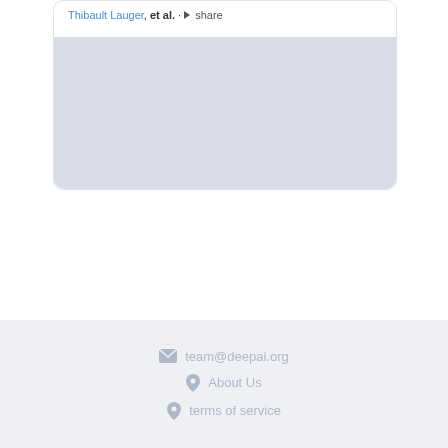Thibault Lauger, et al. · share
[Figure (other): Gray placeholder card area for paper preview content]
team@deepai.org · About Us · terms of service